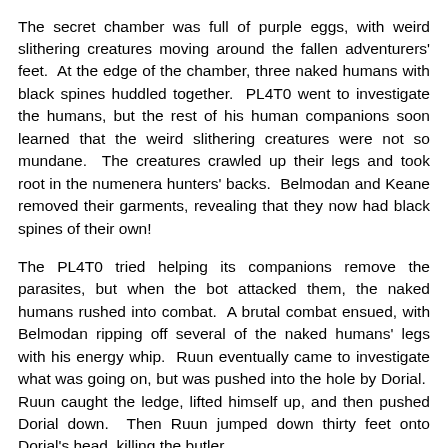The secret chamber was full of purple eggs, with weird slithering creatures moving around the fallen adventurers' feet. At the edge of the chamber, three naked humans with black spines huddled together. PL4T0 went to investigate the humans, but the rest of his human companions soon learned that the weird slithering creatures were not so mundane. The creatures crawled up their legs and took root in the numenera hunters' backs. Belmodan and Keane removed their garments, revealing that they now had black spines of their own!
The PL4T0 tried helping its companions remove the parasites, but when the bot attacked them, the naked humans rushed into combat. A brutal combat ensued, with Belmodan ripping off several of the naked humans' legs with his energy whip. Ruun eventually came to investigate what was going on, but was pushed into the hole by Dorial. Ruun caught the ledge, lifted himself up, and then pushed Dorial down. Then Ruun jumped down thirty feet onto Dorial's head, killing the butler.
When the naked humans were killed, the party heard two things. The first was a woman's voice above, in the estate...